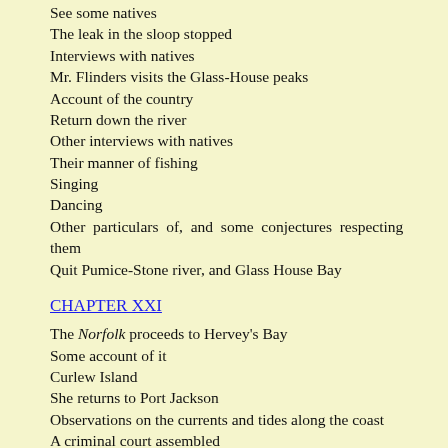See some natives
The leak in the sloop stopped
Interviews with natives
Mr. Flinders visits the Glass-House peaks
Account of the country
Return down the river
Other interviews with natives
Their manner of fishing
Singing
Dancing
Other particulars of, and some conjectures respecting them
Quit Pumice-Stone river, and Glass House Bay
CHAPTER XXI
The Norfolk proceeds to Hervey's Bay
Some account of it
Curlew Island
She returns to Port Jackson
Observations on the currents and tides along the coast
A criminal court assembled
Order respecting the issuing of government notes
Public works
September